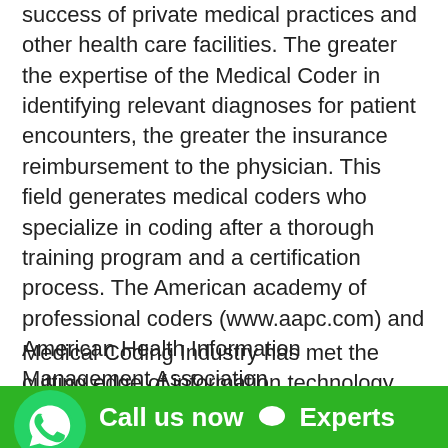success of private medical practices and other health care facilities. The greater the expertise of the Medical Coder in identifying relevant diagnoses for patient encounters, the greater the insurance reimbursement to the physician. This field generates medical coders who specialize in coding after a thorough training program and a certification process. The American academy of professional coders (www.aapc.com) and American Health Information Management Association (www.ahima.org) offers Medical Coding certification. CPC certification hosur
Medical Coding Industry has met the cutting edge of information technology due to which there has been several channels opened towards placements in the health information field. These open doors has diversified and created platforms for the aspiring generation who have laid their career in the health information field.
[Figure (logo): WhatsApp green circular icon with white phone handset logo]
Call us now  Experts